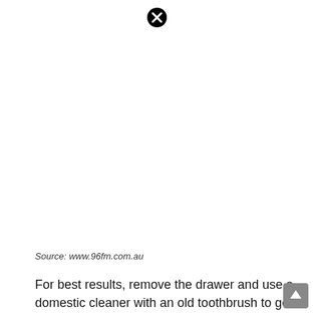[Figure (other): Close/dismiss button icon (black circle with white X) at top center of page]
Source: www.96fm.com.au
For best results, remove the drawer and use a domestic cleaner with an old toothbrush to get into every groove. There are a few
[Figure (other): Scroll-to-top button (grey rounded square with white up arrow) at bottom right]